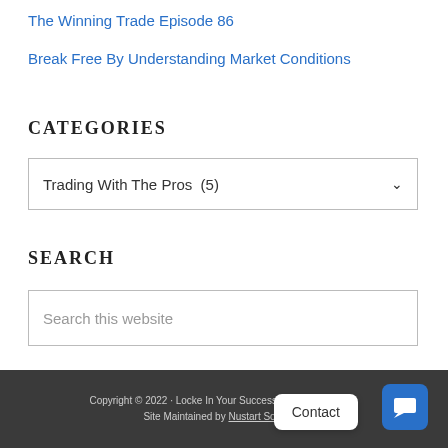The Winning Trade Episode 86
Break Free By Understanding Market Conditions
CATEGORIES
Trading With The Pros  (5)
SEARCH
Search this website
Copyright © 2022 · Locke In Your Success, LLC. All rights reserved. · Site Maintained by Nustart Solutions